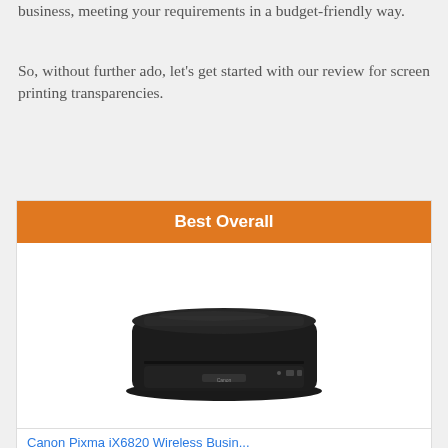business, meeting your requirements in a budget-friendly way.
So, without further ado, let's get started with our review for screen printing transparencies.
Best Overall
[Figure (photo): Canon PIXMA iX6820 Wireless Business Printer - black inkjet printer photographed from a slightly elevated front angle on a white background]
Canon Pixma iX6820 Wireless Busin...